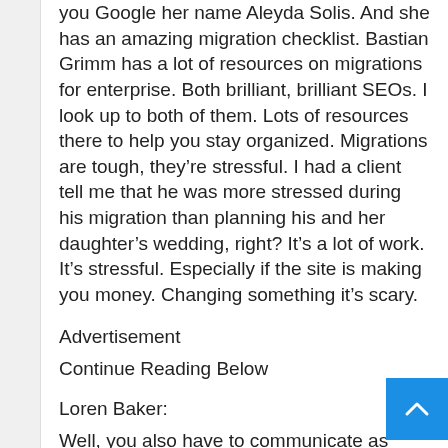you Google her name Aleyda Solis. And she has an amazing migration checklist. Bastian Grimm has a lot of resources on migrations for enterprise. Both brilliant, brilliant SEOs. I look up to both of them. Lots of resources there to help you stay organized. Migrations are tough, they're stressful. I had a client tell me that he was more stressed during his migration than planning his and her daughter's wedding, right? It's a lot of work. It's stressful. Especially if the site is making you money. Changing something it's scary.
Advertisement
Continue Reading Below
Loren Baker:
Well, you also have to communicate as well, right?